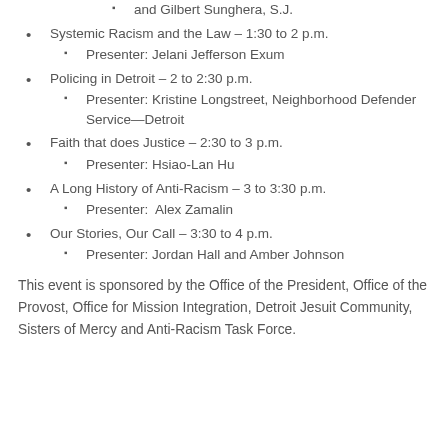and Gilbert Sunghera, S.J.
Systemic Racism and the Law – 1:30 to 2 p.m.
Presenter: Jelani Jefferson Exum
Policing in Detroit – 2 to 2:30 p.m.
Presenter: Kristine Longstreet, Neighborhood Defender Service—Detroit
Faith that does Justice – 2:30 to 3 p.m.
Presenter: Hsiao-Lan Hu
A Long History of Anti-Racism – 3 to 3:30 p.m.
Presenter:  Alex Zamalin
Our Stories, Our Call – 3:30 to 4 p.m.
Presenter: Jordan Hall and Amber Johnson
This event is sponsored by the Office of the President, Office of the Provost, Office for Mission Integration, Detroit Jesuit Community, Sisters of Mercy and Anti-Racism Task Force.